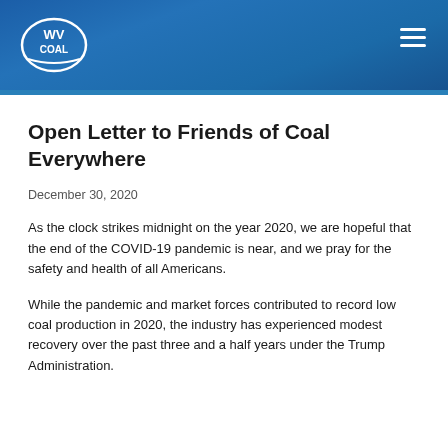WV COAL
Open Letter to Friends of Coal Everywhere
December 30, 2020
As the clock strikes midnight on the year 2020, we are hopeful that the end of the COVID-19 pandemic is near, and we pray for the safety and health of all Americans.
While the pandemic and market forces contributed to record low coal production in 2020, the industry has experienced modest recovery over the past three and a half years under the Trump Administration.